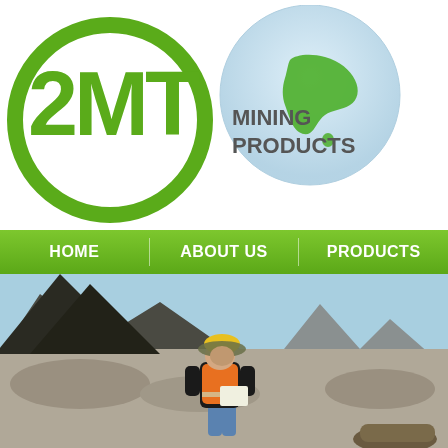[Figure (logo): 2MT Mining Products logo with green globe showing Australia and green circular text ring]
[Figure (other): Navigation bar with HOME, ABOUT US, PRODUCTS on green gradient background]
[Figure (photo): Mining site photo showing a worker in orange hi-vis vest, black jacket, hard hat and sun hat, writing on a clipboard in a dusty open-cut mine landscape with large dark spoil heaps and arid terrain]